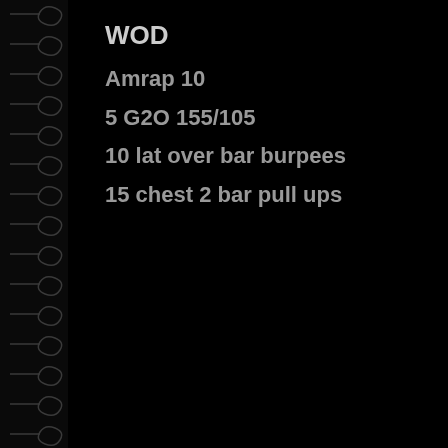WOD
Amrap 10
5 G2O 155/105
10 lat over bar burpees
15 chest 2 bar pull ups